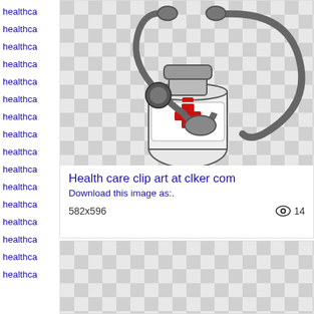healthca
healthca
healthca
healthca
healthca
healthca
healthca
healthca
healthca
healthca
healthca
healthca
healthca
healthca
healthca
healthca
[Figure (illustration): Health care clip art showing a stethoscope and medicine bottle with red cross, on checkered transparency background]
Health care clip art at clker com
Download this image as:.
582x596  👁 14
[Figure (illustration): Second checkered transparency background card (partially visible)]